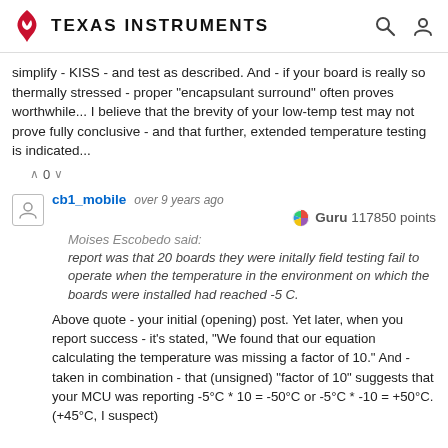Texas Instruments
simplify - KISS - and test as described.  And - if your board is really so thermally stressed - proper "encapsulant surround" often proves worthwhile...  I believe that the brevity of your low-temp test may not prove fully conclusive - and that further, extended temperature testing is indicated...
cb1_mobile  over 9 years ago
Guru 117850 points
Moises Escobedo said:
report was that 20 boards  they were initally field testing fail to operate when the temperature in the environment on which the boards were installed had reached -5 C.
Above quote - your initial (opening) post.   Yet later, when you report success - it's stated, "We found that our equation calculating the temperature was missing a factor of 10."  And - taken in combination - that (unsigned) "factor of 10" suggests that your MCU was reporting -5°C * 10 = -50°C or -5°C * -10 = +50°C.  (+45°C, I suspect)